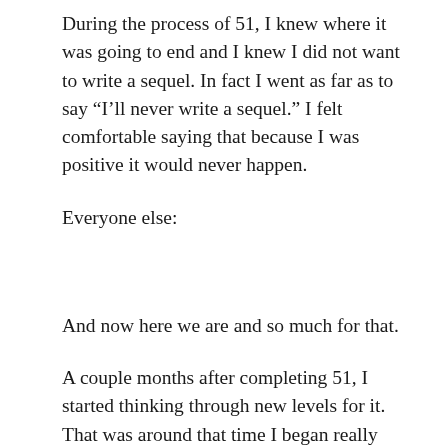During the process of 51, I knew where it was going to end and I knew I did not want to write a sequel. In fact I went as far as to say “I’ll never write a sequel.” I felt comfortable saying that because I was positive it would never happen.
Everyone else:
And now here we are and so much for that.
A couple months after completing 51, I started thinking through new levels for it. That was around that time I began really getting into some of the later sequels of Ender’s Game, one of my favorite series and a series I respect and hold in awe. That